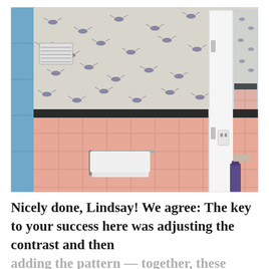[Figure (photo): Interior bathroom photo showing pink ceramic tile walls with a dark border stripe, bee-patterned wallpaper above, a white door in the center, a white towel hanging on the left wall, blue tiled shower on the far left, a mirror on the right reflecting the shower area, and a white towel with a purple shampoo bottle on the right side. The bathroom has a retro style with the pink tile and decorative bee wallpaper.]
Nicely done, Lindsay! We agree: The key to your success here was adjusting the contrast and then adding the pattern — together, these made an incredible difference in the